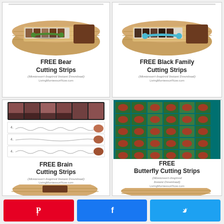[Figure (illustration): FREE Bear Cutting Strips card - Montessori-Inspired Instant Download, LivingMontessoriNow.com, image of a wicker basket with bear cutting strips materials and green scissors]
[Figure (illustration): FREE Black Family Cutting Strips card - Montessori-Inspired Instant Download, LivingMontessoriNow.com, image of a wicker basket with cutting strips and blue scissors]
[Figure (illustration): FREE Brain Cutting Strips card - Montessori-Inspired Instant Download, LivingMontessoriNow.com, image showing brain cutting strip worksheets and a wicker basket]
[Figure (illustration): FREE Butterfly Cutting Strips card - Montessori-Inspired Instant Download, LivingMontessoriNow.com, image showing butterfly photo grid and wicker basket]
Pinterest | Facebook | Twitter share buttons